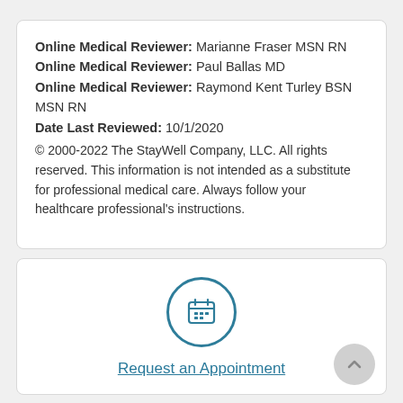Online Medical Reviewer: Marianne Fraser MSN RN
Online Medical Reviewer: Paul Ballas MD
Online Medical Reviewer: Raymond Kent Turley BSN MSN RN
Date Last Reviewed: 10/1/2020
© 2000-2022 The StayWell Company, LLC. All rights reserved. This information is not intended as a substitute for professional medical care. Always follow your healthcare professional's instructions.
[Figure (illustration): Calendar icon inside a teal circle, used as a button graphic for scheduling appointments]
Request an Appointment